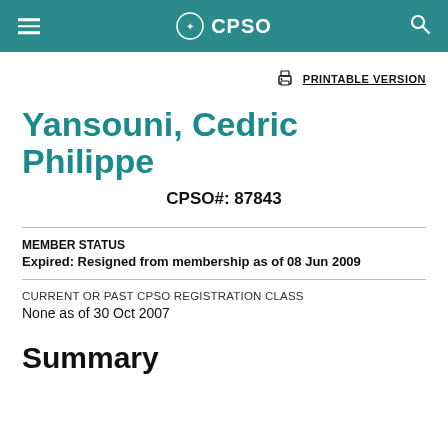CPSO
PRINTABLE VERSION
Yansouni, Cedric Philippe
CPSO#: 87843
MEMBER STATUS
Expired: Resigned from membership as of 08 Jun 2009
CURRENT OR PAST CPSO REGISTRATION CLASS
None as of 30 Oct 2007
Summary